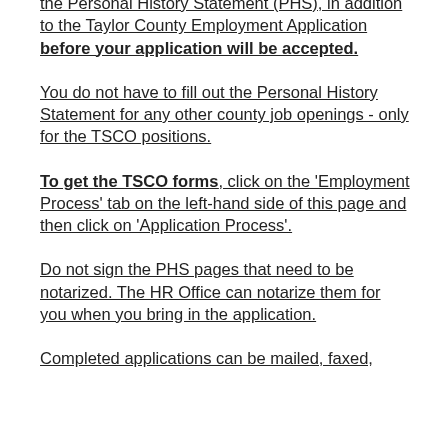the Personal History Statement (PHS), in addition to the Taylor County Employment Application before your application will be accepted.
You do not have to fill out the Personal History Statement for any other county job openings - only for the TSCO positions.
To get the TSCO forms, click on the 'Employment Process' tab on the left-hand side of this page and then click on 'Application Process'.
Do not sign the PHS pages that need to be notarized. The HR Office can notarize them for you when you bring in the application.
Completed applications can be mailed, faxed,